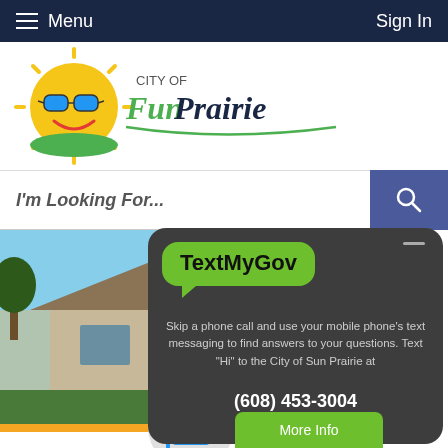Menu | Sign In
[Figure (logo): City of Sun Prairie - City of Fun Prairie logo with sun wearing sunglasses]
I'm Looking For...
[Figure (photo): Photo of a house with green lawn and trees]
[Figure (infographic): TextMyGov panel: Skip a phone call and use your mobile phone's text messaging to find answers to your questions. Text 'Hi' to the City of Sun Prairie at (608) 453-3004]
More Info